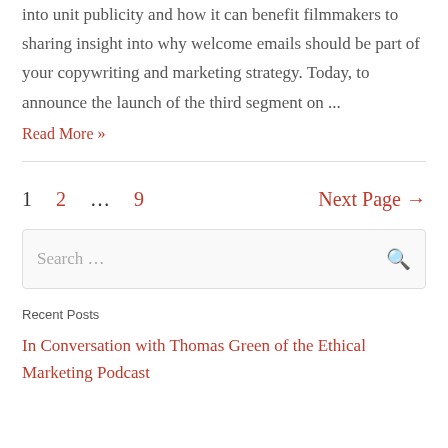into unit publicity and how it can benefit filmmakers to sharing insight into why welcome emails should be part of your copywriting and marketing strategy. Today, to announce the launch of the third segment on ...
Read More »
1
2
...
9
Next Page →
Search ...
Recent Posts
In Conversation with Thomas Green of the Ethical Marketing Podcast